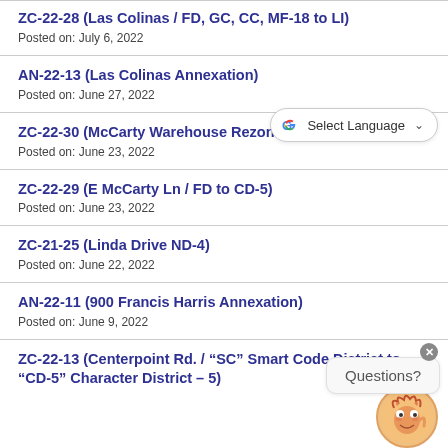ZC-22-28 (Las Colinas / FD, GC, CC, MF-18 to LI)
Posted on: July 6, 2022
AN-22-13 (Las Colinas Annexation)
Posted on: June 27, 2022
ZC-22-30 (McCarty Warehouse Rezone / GC to HC)
Posted on: June 23, 2022
ZC-22-29 (E McCarty Ln / FD to CD-5)
Posted on: June 23, 2022
ZC-21-25 (Linda Drive ND-4)
Posted on: June 22, 2022
AN-22-11 (900 Francis Harris Annexation)
Posted on: June 9, 2022
ZC-22-13 (Centerpoint Rd. / “SC” Smart Code District to “CD-5” Character District – 5)